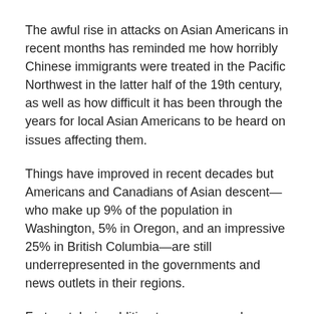The awful rise in attacks on Asian Americans in recent months has reminded me how horribly Chinese immigrants were treated in the Pacific Northwest in the latter half of the 19th century, as well as how difficult it has been through the years for local Asian Americans to be heard on issues affecting them.
Things have improved in recent decades but Americans and Canadians of Asian descent—who make up 9% of the population in Washington, 5% in Oregon, and an impressive 25% in British Columbia—are still underrepresented in the governments and news outlets in their regions.
Fortunately, in addition to more narrowly targeted newspapers, the Northwest now has three daily publications dedicated specifically to news and issues